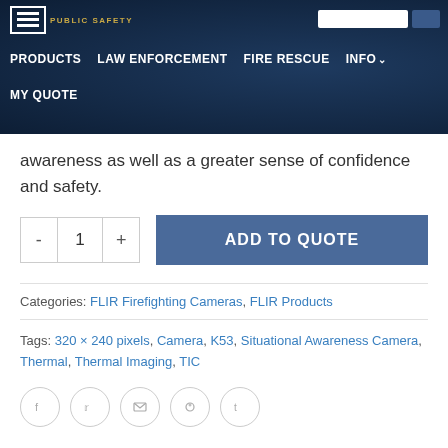PUBLIC SAFETY | PRODUCTS | LAW ENFORCEMENT | FIRE RESCUE | INFO | MY QUOTE
awareness as well as a greater sense of confidence and safety.
- 1 + [quantity selector] ADD TO QUOTE
Categories: FLIR Firefighting Cameras, FLIR Products
Tags: 320 × 240 pixels, Camera, K53, Situational Awareness Camera, Thermal, Thermal Imaging, TIC